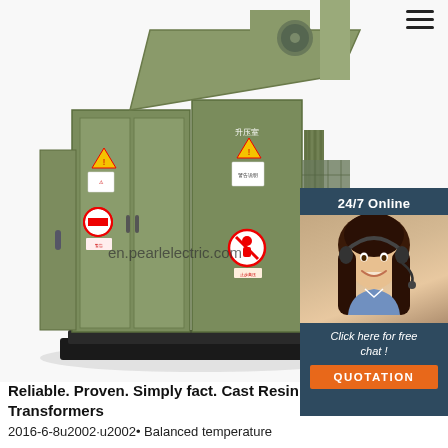[Figure (photo): Industrial green metal electrical transformer substation unit with warning labels and safety signs, shown at three-quarter angle. Chinese safety warning signs visible on cabinet doors. URL watermark 'en.pearlelectric.com' overlaid on image.]
[Figure (infographic): Chat support panel with '24/7 Online' header, photo of smiling woman with headset, italic text 'Click here for free chat!', and orange QUOTATION button. Dark navy/teal background.]
[Figure (other): TOP icon: orange triangle/dots above red TOP lettering, back-to-top navigation element.]
Reliable. Proven. Simply fact. Cast Resin Transformers
2016-6-8u2002·u2002• Balanced temperature